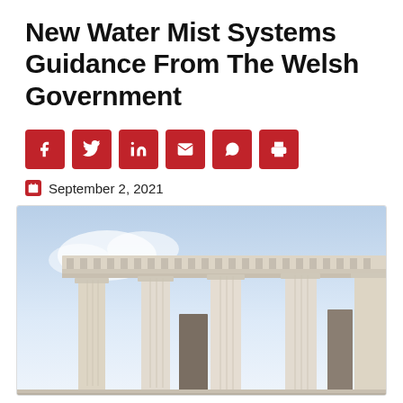New Water Mist Systems Guidance From The Welsh Government
[Figure (other): Social media sharing buttons: Facebook, Twitter, LinkedIn, Email, WhatsApp, Print]
September 2, 2021
[Figure (photo): Photograph of a neoclassical government building facade with large stone columns and ornate cornice details, shot from a low angle against a bright sky with clouds.]